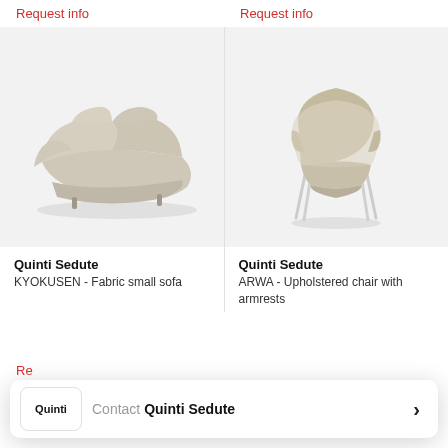Request info
Request info
[Figure (photo): Curved beige/cream fabric small sofa (KYOKUSEN) on light gray background]
[Figure (photo): Beige upholstered armchair (ARWA) with metal legs on light gray background]
Quinti Sedute
KYOKUSEN - Fabric small sofa
Quinti Sedute
ARWA - Upholstered chair with armrests
Re
Contact Quinti Sedute